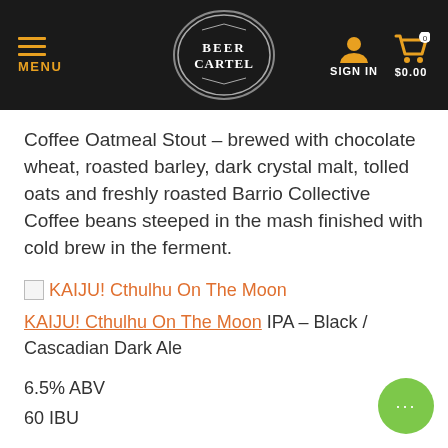MENU | BEER CARTEL | SIGN IN $0.00
Coffee Oatmeal Stout – brewed with chocolate wheat, roasted barley, dark crystal malt, tolled oats and freshly roasted Barrio Collective Coffee beans steeped in the mash finished with cold brew in the ferment.
[Figure (other): Broken image placeholder for KAIJU! Cthulhu On The Moon product image]
KAIJU! Cthulhu On The Moon IPA – Black / Cascadian Dark Ale
6.5% ABV
60 IBU